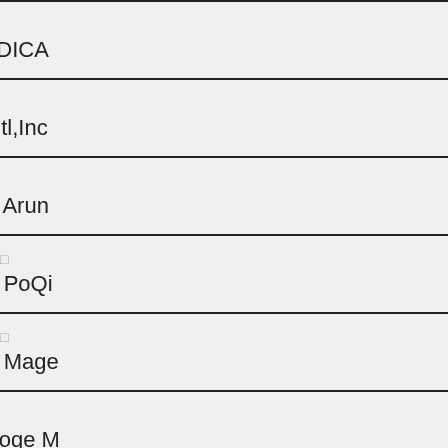| Number | Company Name |
| --- | --- |
| 43 | 囧囧囧囧囧囧囧囧囧囧 / ELITE MEDICA… |
| 44 | 囧囧囧囧囧囧囧囧囧囧 / Copious Intl,Inc… |
| 45 | 囧囧囧囧囧囧囧囧囧囧 / Dongguan Arun… |
| 46 | 囧囧囧囧囧囧囧囧囧囧囧囧 / Dongguan PoQi… |
| 47 | 囧囧囧囧囧囧囧囧囧囧囧囧 / Dongguan Mage… |
| 48 | 囧囧囧囧囧囧囧囧囧囧 / Zhuhai Gaoge M… |
| 49 | 囧囧囧囧囧囧囧囧囧囧 / Sanjiao Oral Hea… |
| 50 | … |